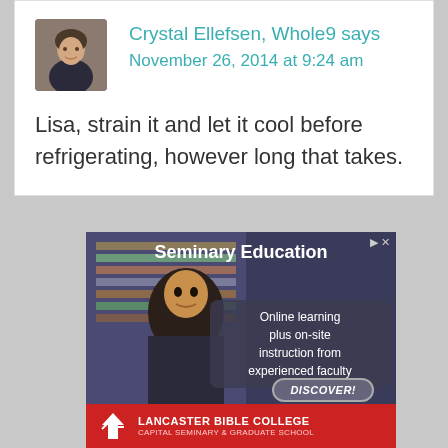Crystal Ellefsen, Whole9 says
November 26, 2014 at 9:24 am
Lisa, strain it and let it cool before refrigerating, however long that takes.
[Figure (photo): Advertisement for Lancaster Bible College Seminary Education: Online learning plus on-site instruction from experienced faculty. Shows a smiling man in a library background. Includes a DISCOVER! button and Lancaster Bible College Capital Seminary & Graduate School branding at bottom.]